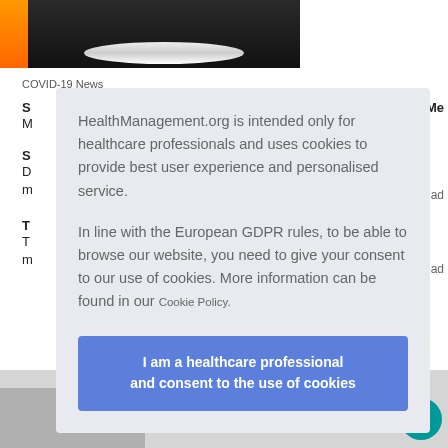[Figure (screenshot): Top portion of HealthManagement.org website showing header image with orange bar and white oval/logo element on dark background]
COVID-19 News
S
s Me
M
S
D
m
Read
T
T
m
Read
HealthManagement.org is intended only for healthcare professionals and uses cookies to provide best user experience and personalised service.

In line with the European GDPR rules, to be able to browse our website, you need to give your consent to our use of cookies. More information can be found in our Cookie Policy.
I am a healthcare professional and consent to the use of cookies